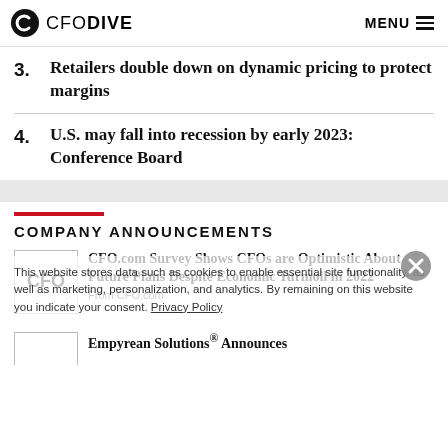CFO DIVE   MENU
3. Retailers double down on dynamic pricing to protect margins
4. U.S. may fall into recession by early 2023: Conference Board
COMPANY ANNOUNCEMENTS
CFO.com Survey Shows CFOs are Optimistic About Future Plans Despite Economic Turmoil in 2022
From CFO.com
This website stores data such as cookies to enable essential site functionality, as well as marketing, personalization, and analytics. By remaining on this website you indicate your consent. Privacy Policy
Empyrean Solutions® Announces